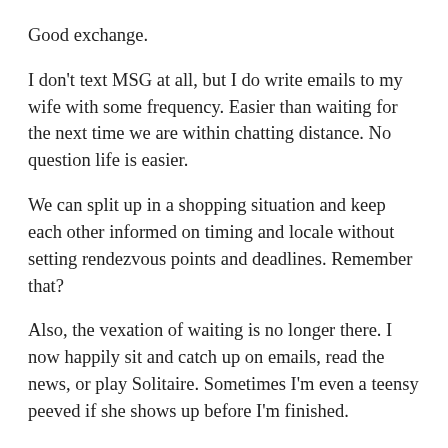Good exchange.
I don't text MSG at all, but I do write emails to my wife with some frequency. Easier than waiting for the next time we are within chatting distance. No question life is easier.
We can split up in a shopping situation and keep each other informed on timing and locale without setting rendezvous points and deadlines. Remember that?
Also, the vexation of waiting is no longer there. I now happily sit and catch up on emails, read the news, or play Solitaire. Sometimes I'm even a teensy peeved if she shows up before I'm finished.
Lately I have been listing to streamed music over a service that has 480 channels you can organize in your “favorites” list. For classical alone there are about 30 different channels. What a luxury! AccuRadio app, if you are interested. Better